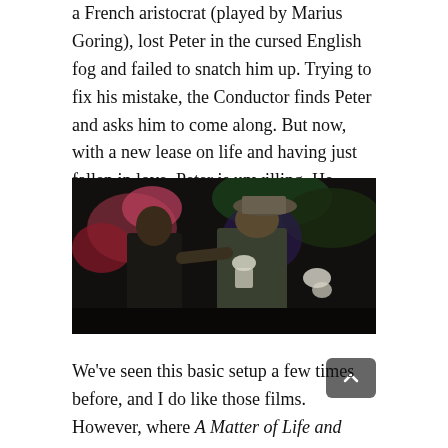a French aristocrat (played by Marius Goring), lost Peter in the cursed English fog and failed to snatch him up. Trying to fix his mistake, the Conductor finds Peter and asks him to come along. But now, with a new lease on life and having just fallen in love, Peter is unwilling. He demands an appeal.
[Figure (photo): A dark movie still showing two men facing each other in a dramatic confrontation, with colorful flowers visible in the background. One man wears a hat and period costume.]
We've seen this basic setup a few times before, and I do like those films. However, where A Matter of Life and